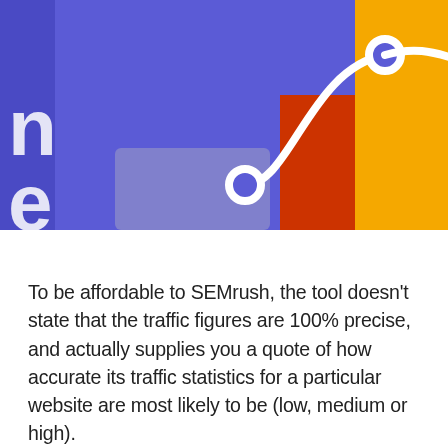[Figure (illustration): Decorative infographic illustration showing a bar chart with purple, orange/red, and yellow bars on a purple background, with a white line graph overlaid showing two data points connected by a curve. Partial letters 'n' and 'e' visible on the left edge.]
To be affordable to SEMrush, the tool doesn't state that the traffic figures are 100% precise, and actually supplies you a quote of how accurate its traffic statistics for a particular website are most likely to be (low, medium or high).